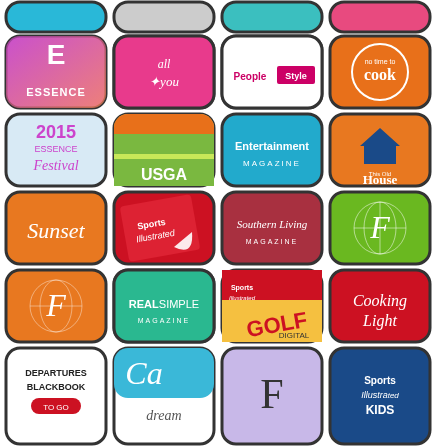[Figure (screenshot): Grid of magazine/app icons including Essence, All You, People Style, No Time to Cook, 2015 Essence Festival, USGA, Entertainment Magazine, This Old House, Sunset, Sports Illustrated, Southern Living, Forbes F, Forbes F orange, Real Simple, SI Golf Digital, Cooking Light, Departures Blackbook To Go, CA Dream, F serif, Sports Illustrated Kids]